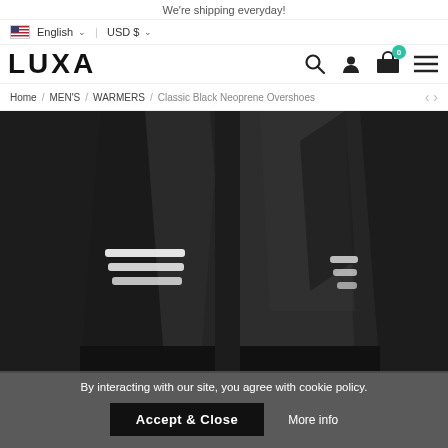We're shipping everyday!
English  USD $
[Figure (logo): LUXA brand logo in bold black text]
Home / MEN'S / WARMERS / Classic Black Neoprene Overshoes
[Figure (photo): Black neoprene leg warmers/overshoes shown from the front and side, with white reflective stripe details near the knee area]
By interacting with our site, you agree with cookie policy.
Accept & Close
More info